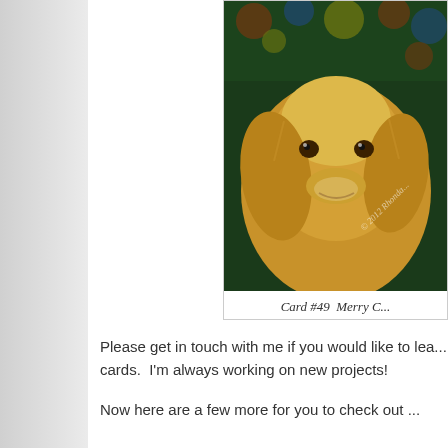[Figure (photo): Photo of a golden retriever dog in front of colorful Christmas decorations. A copyright watermark reads '© 2012 Rhonda...' overlaid on the image.]
Card #49  Merry C...
Please get in touch with me if you would like to lea... cards.  I'm always working on new projects!
Now here are a few more for you to check out ...